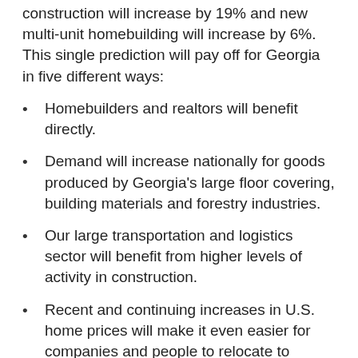construction will increase by 19% and new multi-unit homebuilding will increase by 6%. This single prediction will pay off for Georgia in five different ways:
Homebuilders and realtors will benefit directly.
Demand will increase nationally for goods produced by Georgia’s large floor covering, building materials and forestry industries.
Our large transportation and logistics sector will benefit from higher levels of activity in construction.
Recent and continuing increases in U.S. home prices will make it even easier for companies and people to relocate to Georgia.
The equity generated via home price